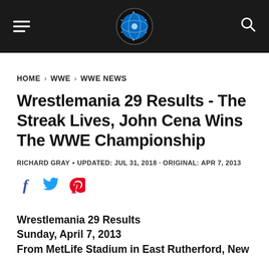Wrestling News World — navigation header with logo, hamburger menu, and search icon
HOME > WWE > WWE NEWS
Wrestlemania 29 Results - The Streak Lives, John Cena Wins The WWE Championship
RICHARD GRAY • UPDATED: JUL 31, 2018 · ORIGINAL: APR 7, 2013
[Figure (infographic): Social share icons: Facebook (f), Twitter (bird), Pinterest (P)]
Wrestlemania 29 Results
Sunday, April 7, 2013
From MetLife Stadium in East Rutherford, New